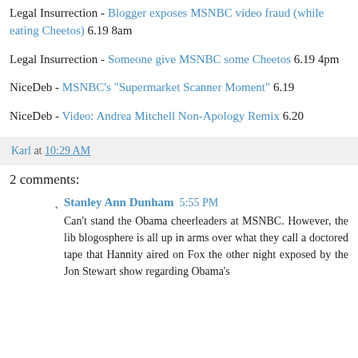Legal Insurrection - Blogger exposes MSNBC video fraud (while eating Cheetos) 6.19 8am
Legal Insurrection - Someone give MSNBC some Cheetos 6.19 4pm
NiceDeb - MSNBC's "Supermarket Scanner Moment" 6.19
NiceDeb - Video: Andrea Mitchell Non-Apology Remix 6.20
Karl at 10:29 AM
2 comments:
Stanley Ann Dunham 5:55 PM
Can't stand the Obama cheerleaders at MSNBC. However, the lib blogosphere is all up in arms over what they call a doctored tape that Hannity aired on Fox the other night exposed by the Jon Stewart show regarding Obama's